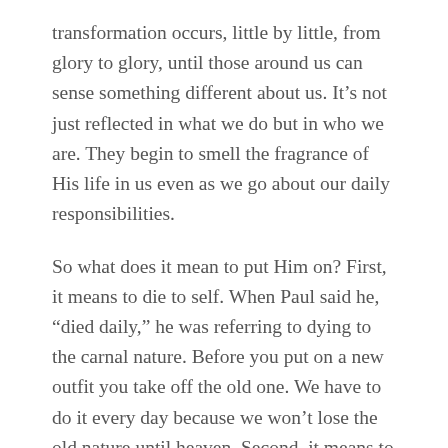transformation occurs, little by little, from glory to glory, until those around us can sense something different about us. It’s not just reflected in what we do but in who we are. They begin to smell the fragrance of His life in us even as we go about our daily responsibilities.
So what does it mean to put Him on? First, it means to die to self. When Paul said he, “died daily,” he was referring to dying to the carnal nature. Before you put on a new outfit you take off the old one. We have to do it every day because we won’t lose the old nature until heaven. Second, it means to choose an attitude that puts God first instead of self. Humility instead of pride, loving instead of competing, praying instead of presuming, serving instead of